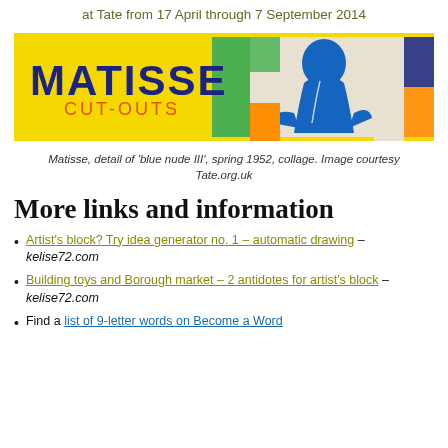at Tate from 17 April through 7 September 2014
[Figure (illustration): Matisse Cut-Outs exhibition banner with yellow background, colorful geometric shapes, and blue nude figure silhouette]
Matisse, detail of 'blue nude III', spring 1952, collage. Image courtesy Tate.org.uk
More links and information
Artist's block? Try idea generator no. 1 – automatic drawing – kelise72.com
Building toys and Borough market – 2 antidotes for artist's block – kelise72.com
Find a list of 9-letter words on Become a Word